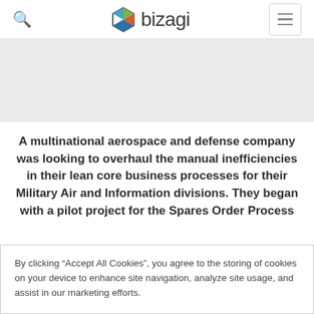bizagi (navigation bar with search icon and menu button)
[Figure (illustration): Gray area placeholder content area below navigation bar]
A multinational aerospace and defense company was looking to overhaul the manual inefficiencies in their lean core business processes for their Military Air and Information divisions. They began with a pilot project for the Spares Order Process
By clicking “Accept All Cookies”, you agree to the storing of cookies on your device to enhance site navigation, analyze site usage, and assist in our marketing efforts.